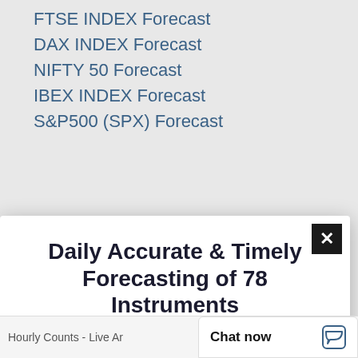FTSE INDEX Forecast
DAX INDEX Forecast
NIFTY 50 Forecast
IBEX INDEX Forecast
S&P500 (SPX) Forecast
Daily Accurate & Timely Forecasting of 78 Instruments
Elliott Wave Forecast
Live technical forecast of Stocks, ETFs, Indices, Forex, Commodities, Crypto and more.
Trusted by 10,000+ successful traders,
Start Your 14-day Trial
Hourly Counts - Live Ar
Chat now